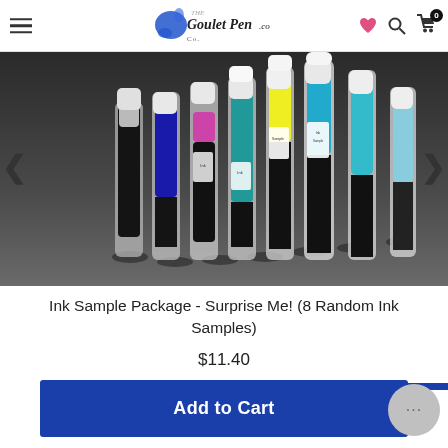The Goulet Pen Co. — Navigation bar with hamburger menu, logo, heart/search/cart icons
[Figure (photo): Multiple small ink sample vials arranged on a dark surface, containing various colored inks including blue, teal, pink, yellow, and black. White caps visible on some vials with labels.]
Ink Sample Package - Surprise Me! (8 Random Ink Samples)
$11.40
Add to Cart